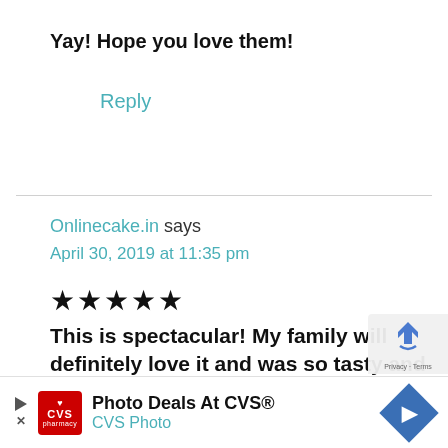Yay! Hope you love them!
Reply
Onlinecake.in says
April 30, 2019 at 11:35 pm
★★★★★
This is spectacular! My family will definitely love it and was so tasty and flavorful, can't wait to try. I can't wait to catch up with all your
[Figure (screenshot): CVS Photo advertisement banner at bottom of page showing CVS logo, 'Photo Deals At CVS®', 'CVS Photo' text, and a navigation/map pin icon]